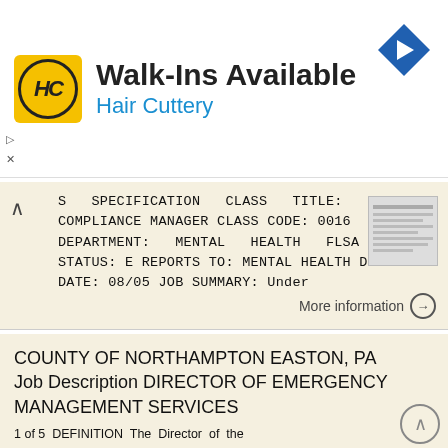[Figure (other): Hair Cuttery advertisement banner with logo, text 'Walk-Ins Available Hair Cuttery', and navigation arrow icon]
S SPECIFICATION CLASS TITLE: COMPLIANCE MANAGER CLASS CODE: 0016 DEPARTMENT: MENTAL HEALTH FLSA STATUS: E REPORTS TO: MENTAL HEALTH DIRECTOR DATE: 08/05 JOB SUMMARY: Under
More information →
COUNTY OF NORTHAMPTON EASTON, PA Job Description DIRECTOR OF EMERGENCY MANAGEMENT SERVICES
1 of 5 DEFINITION The Director of the Emergency Management Services directs and plans all of the administrative and operational activities of the Emergency Management Services Division. This position is